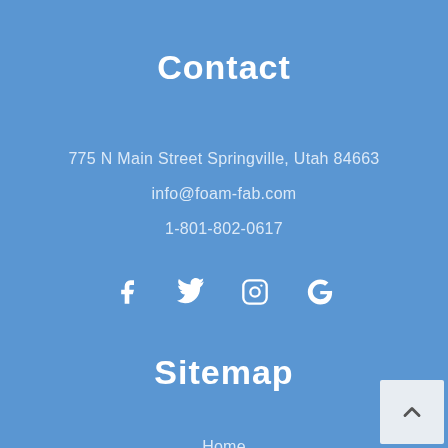Contact
775 N Main Street Springville, Utah 84663
info@foam-fab.com
1-801-802-0617
[Figure (infographic): Social media icons: Facebook, Twitter, Instagram, Google]
Sitemap
Home
Large Foam Letters
3D Signs
Foam Sculptures & Props (partially visible)